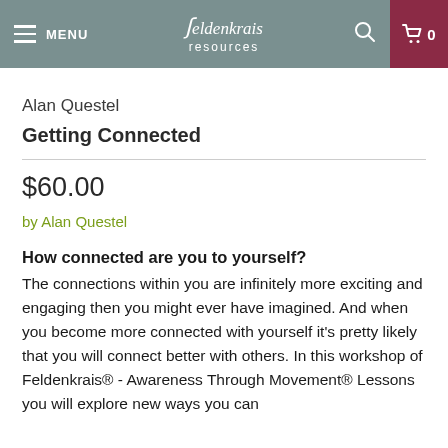MENU | Feldenkrais resources | 0
Alan Questel
Getting Connected
$60.00
by Alan Questel
How connected are you to yourself?
The connections within you are infinitely more exciting and engaging then you might ever have imagined. And when you become more connected with yourself it's pretty likely that you will connect better with others. In this workshop of Feldenkrais® - Awareness Through Movement® Lessons you will explore new ways you can